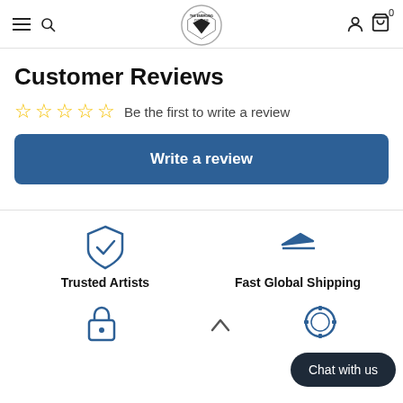Navigation header with hamburger menu, search icon, logo, user icon, cart icon with 0
Customer Reviews
☆☆☆☆☆ Be the first to write a review
Write a review
[Figure (infographic): Shield with checkmark icon labeled Trusted Artists and airplane takeoff icon labeled Fast Global Shipping, plus a padlock icon and a gear/badge icon in second row]
Chat with us